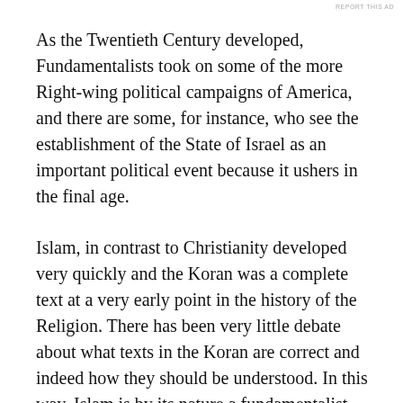REPORT THIS AD
As the Twentieth Century developed, Fundamentalists took on some of the more Right-wing political campaigns of America, and there are some, for instance, who see the establishment of the State of Israel as an important political event because it ushers in the final age.
Islam, in contrast to Christianity developed very quickly and the Koran was a complete text at a very early point in the history of the Religion. There has been very little debate about what texts in the Koran are correct and indeed how they should be understood. In this way, Islam is by its nature a fundamentalist